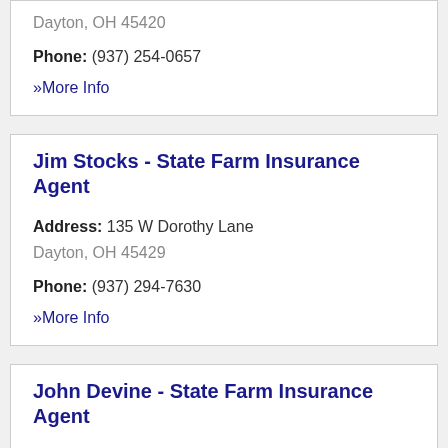Dayton, OH 45420
Phone: (937) 254-0657
» More Info
Jim Stocks - State Farm Insurance Agent
Address: 135 W Dorothy Lane
Dayton, OH 45429
Phone: (937) 294-7630
» More Info
John Devine - State Farm Insurance Agent
Address: 1299-H Lyons Road